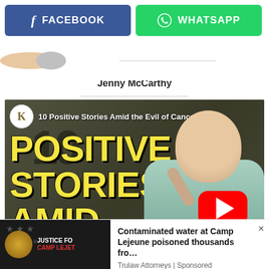[Figure (screenshot): Facebook and WhatsApp share buttons at the top of a webpage]
Jenny McCarthy
[Figure (screenshot): YouTube video thumbnail titled '10 Positive Stories Amid the Evil of Cancer' showing a bald woman with large yellow text reading POSITIVE STORIES AMID THE and a YouTube play button overlay]
[Figure (screenshot): Advertisement banner: Justice For Camp Lejeune ad with text 'Contaminated water at Camp Lejeune poisoned thousands fro...' by Trulaw Attorneys | Sponsored, with close X button]